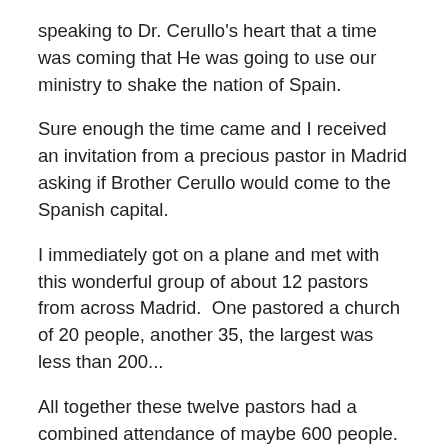speaking to Dr. Cerullo's heart that a time was coming that He was going to use our ministry to shake the nation of Spain.
Sure enough the time came and I received an invitation from a precious pastor in Madrid asking if Brother Cerullo would come to the Spanish capital.
I immediately got on a plane and met with this wonderful group of about 12 pastors from across Madrid.  One pastored a church of 20 people, another 35, the largest was less than 200...
All together these twelve pastors had a combined attendance of maybe 600 people.
They were inviting Brother Cerullo to come and conduct a crusade in a beautiful auditorium in the center of Madrid